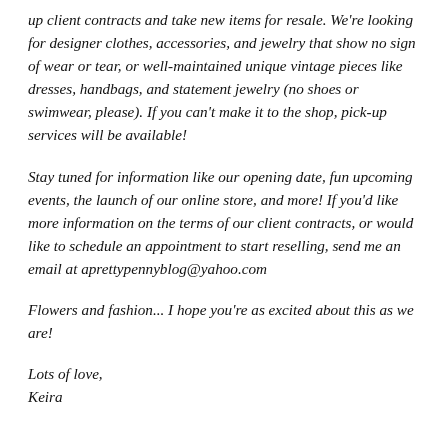up client contracts and take new items for resale. We're looking for designer clothes, accessories, and jewelry that show no sign of wear or tear, or well-maintained unique vintage pieces like dresses, handbags, and statement jewelry (no shoes or swimwear, please). If you can't make it to the shop, pick-up services will be available!
Stay tuned for information like our opening date, fun upcoming events, the launch of our online store, and more! If you'd like more information on the terms of our client contracts, or would like to schedule an appointment to start reselling, send me an email at aprettypennyblog@yahoo.com
Flowers and fashion... I hope you're as excited about this as we are!
Lots of love,
Keira